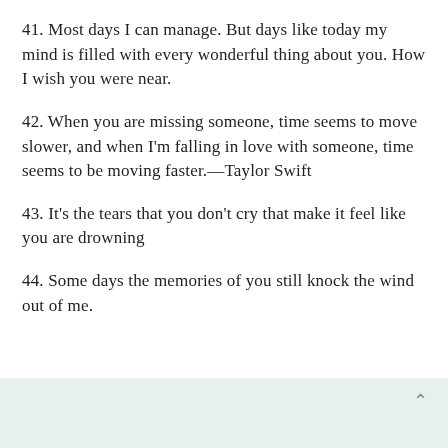41. Most days I can manage. But days like today my mind is filled with every wonderful thing about you. How I wish you were near.
42. When you are missing someone, time seems to move slower, and when I'm falling in love with someone, time seems to be moving faster.—Taylor Swift
43. It's the tears that you don't cry that make it feel like you are drowning
44. Some days the memories of you still knock the wind out of me.